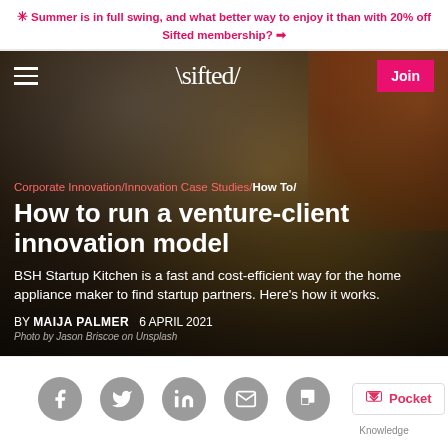* Summer is in full swing, and what better way to enjoy it than with 20% off Sifted membership? →
[Figure (screenshot): Sifted website header with hamburger menu, Sifted logo, and Join button over a hero image of two people cooking in a kitchen]
Corporate Innovation/Innovation Case Studies/How To/
How to run a venture-client innovation model
BSH Startup Kitchen is a fast and cost-efficient way for the home appliance maker to find startup partners. Here's how it works.
BY MAIJA PALMER   6 APRIL 2021
Photo by Jason Briscoe on Unsplash
Share icons: Facebook, Twitter, LinkedIn, Email, Flipboard, Pocket, Knowledge bookmark